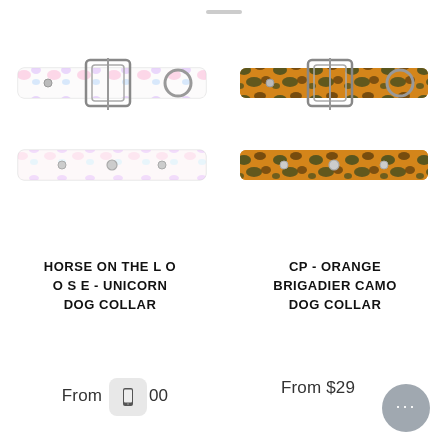[Figure (photo): Two dog collars displayed: top one with unicorn pattern featuring silver buckle and D-ring, bottom one showing the inside of the same unicorn patterned collar]
[Figure (photo): Two dog collars displayed: top one with orange brigadier camo pattern featuring silver buckle and D-ring, bottom one showing the inside of the same camo patterned collar]
HORSE ON THE L O O S E - UNICORN DOG COLLAR
CP - ORANGE BRIGADIER CAMO DOG COLLAR
From $29.00
From $29